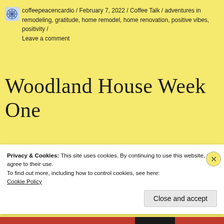coffeepeacencardio / February 7, 2022 / Coffee Talk / adventures in remodeling, gratitude, home remodel, home renovation, positive vibes, positivity / Leave a comment
Woodland House Week One
Hello all, here is an update on our 1st week renovating our property in South Carolina.
Privacy & Cookies: This site uses cookies. By continuing to use this website, you agree to their use.
To find out more, including how to control cookies, see here:
Cookie Policy
Close and accept